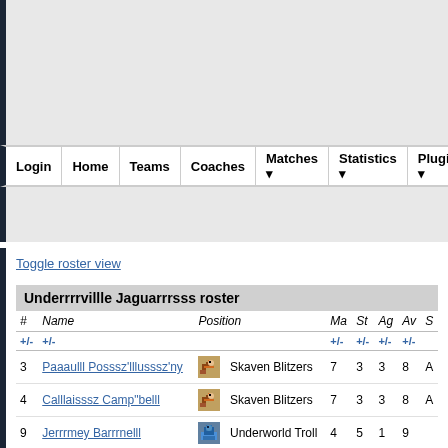Login | Home | Teams | Coaches | Matches | Statistics | Plugins
Toggle roster view
Underrrrvillle Jaguarrrsss roster
| # | Name | Position | Ma | St | Ag | Av | S |
| --- | --- | --- | --- | --- | --- | --- | --- |
| 3 | Paaaulll Posssz'lllusssz'ny | Skaven Blitzers | 7 | 3 | 3 | 8 | A |
| 4 | Calllaisssz Camp"belll | Skaven Blitzers | 7 | 3 | 3 | 8 | A |
| 9 | Jerrrmey Barrrnelll | Underworld Troll | 4 | 5 | 1 | 9 |  |